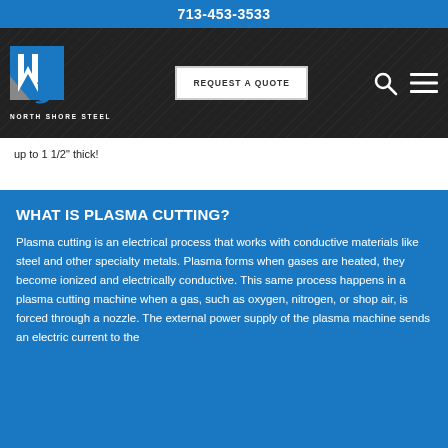713-453-3533
[Figure (logo): North Shore Steel logo with blue and grey N icon and text NORTH SHORE STEEL]
up to 1 1/2" thick!
WHAT IS PLASMA CUTTING?
Plasma cutting is an electrical process that works with conductive materials like steel and other specialty metals. Plasma forms when gases are heated, they become ionized and electrically conductive. This same process happens in a plasma cutting machine when a gas, such as oxygen, nitrogen, or shop air, is forced through a nozzle. The external power supply of the plasma machine sends an electric current to the